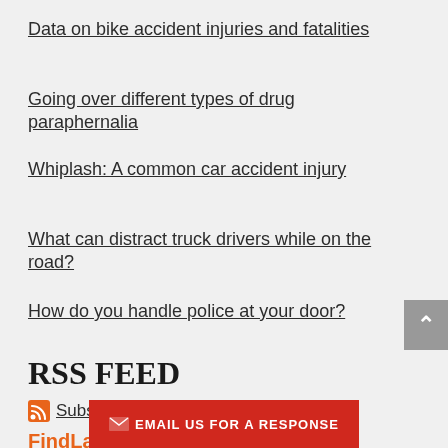Data on bike accident injuries and fatalities
Going over different types of drug paraphernalia
Whiplash: A common car accident injury
What can distract truck drivers while on the road?
How do you handle police at your door?
RSS FEED
Subscribe To This Blog's Feed
FindLaw. Network
EMAIL US FOR A RESPONSE